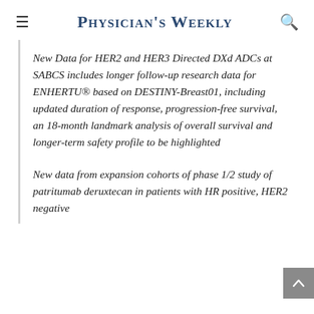Physician's Weekly
New Data for HER2 and HER3 Directed DXd ADCs at SABCS includes longer follow-up research data for ENHERTU® based on DESTINY-Breast01, including updated duration of response, progression-free survival, an 18-month landmark analysis of overall survival and longer-term safety profile to be highlighted
New data from expansion cohorts of phase 1/2 study of patritumab deruxtecan in patients with HR positive, HER2 negative